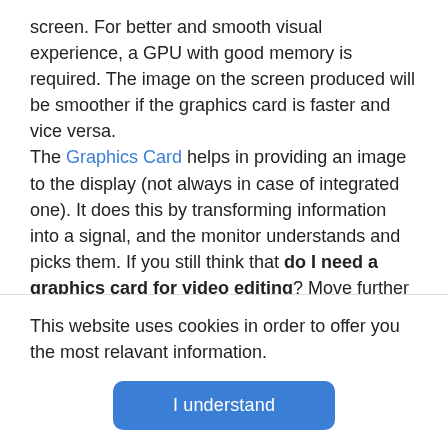screen. For better and smooth visual experience, a GPU with good memory is required. The image on the screen produced will be smoother if the graphics card is faster and vice versa.
The Graphics Card helps in providing an image to the display (not always in case of integrated one). It does this by transforming information into a signal, and the monitor understands and picks them. If you still think that do I need a graphics card for video editing? Move further with us.
Importance of GPU for Video Editing:
Video editing at a high level, as we already mentioned,
This website uses cookies in order to offer you the most relavant information.